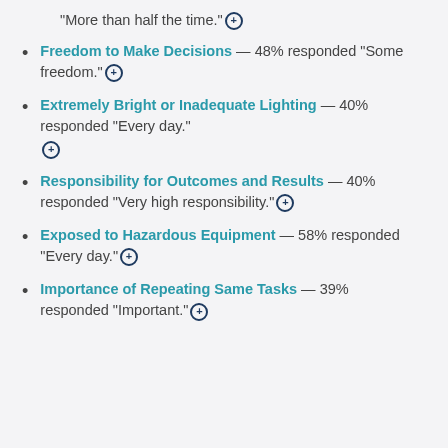“More than half the time.”⊕
Freedom to Make Decisions — 48% responded “Some freedom.”⊕
Extremely Bright or Inadequate Lighting — 40% responded “Every day.” ⊕
Responsibility for Outcomes and Results — 40% responded “Very high responsibility.”⊕
Exposed to Hazardous Equipment — 58% responded “Every day.”⊕
Importance of Repeating Same Tasks — 39% responded “Important.”⊕